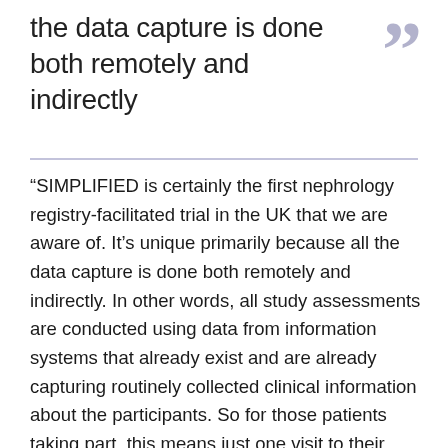the data capture is done both remotely and indirectly
“SIMPLIFIED is certainly the first nephrology registry-facilitated trial in the UK that we are aware of. It’s unique primarily because all the data capture is done both remotely and indirectly. In other words, all study assessments are conducted using data from information systems that already exist and are already capturing routinely collected clinical information about the participants. So for those patients taking part, this means just one visit to their usual clinic or dialysis centre to enrol in the study and complete the forms which give us consent to access their data. It’s a very efficient way of conducting a